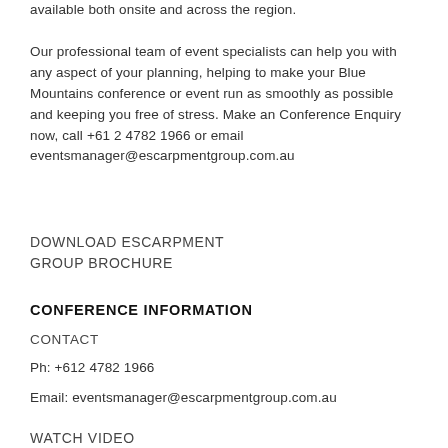available both onsite and across the region. Our professional team of event specialists can help you with any aspect of your planning, helping to make your Blue Mountains conference or event run as smoothly as possible and keeping you free of stress. Make an Conference Enquiry now, call +61 2 4782 1966 or email eventsmanager@escarpmentgroup.com.au
DOWNLOAD ESCARPMENT GROUP BROCHURE
CONFERENCE INFORMATION
CONTACT
Ph: +612 4782 1966
Email: eventsmanager@escarpmentgroup.com.au
WATCH VIDEO